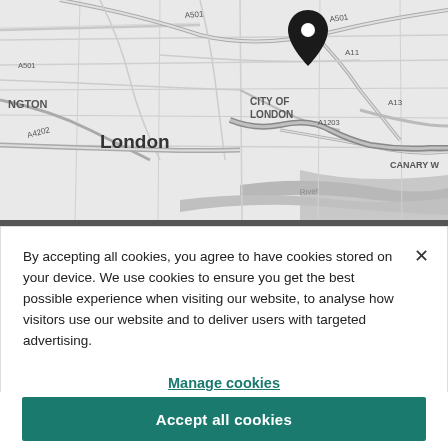[Figure (map): Grayscale street map of London showing City of London area, roads labeled A501, A11, A13, A1203, A4202, areas labeled NGTON (Islington), London, CITY OF LONDON, CANARY W (Canary Wharf), River Thames, with a black location pin marker over City of London]
By accepting all cookies, you agree to have cookies stored on your device. We use cookies to ensure you get the best possible experience when visiting our website, to analyse how visitors use our website and to deliver users with targeted advertising.
Manage cookies
Reject all cookies
Accept all cookies